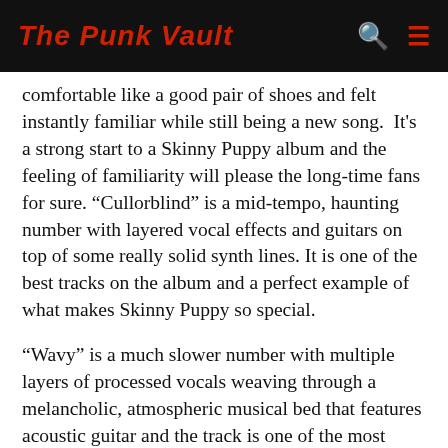The Punk Vault
comfortable like a good pair of shoes and felt instantly familiar while still being a new song. It's a strong start to a Skinny Puppy album and the feeling of familiarity will please the long-time fans for sure. “Cullorblind” is a mid-tempo, haunting number with layered vocal effects and guitars on top of some really solid synth lines. It is one of the best tracks on the album and a perfect example of what makes Skinny Puppy so special.
“Wavy” is a much slower number with multiple layers of processed vocals weaving through a melancholic, atmospheric musical bed that features acoustic guitar and the track is one of the most accessible songs on Handover. The song is abnormally beautiful and welcoming as opposed to the more confrontational music they’ve become known for over the past 28